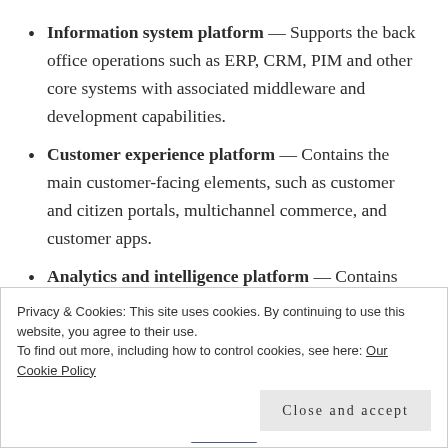Information system platform — Supports the back office operations such as ERP, CRM, PIM and other core systems with associated middleware and development capabilities.
Customer experience platform — Contains the main customer-facing elements, such as customer and citizen portals, multichannel commerce, and customer apps.
Analytics and intelligence platform — Contains information management and analytical capabilities. Data management programs and
Privacy & Cookies: This site uses cookies. By continuing to use this website, you agree to their use.
To find out more, including how to control cookies, see here: Our Cookie Policy
Close and accept